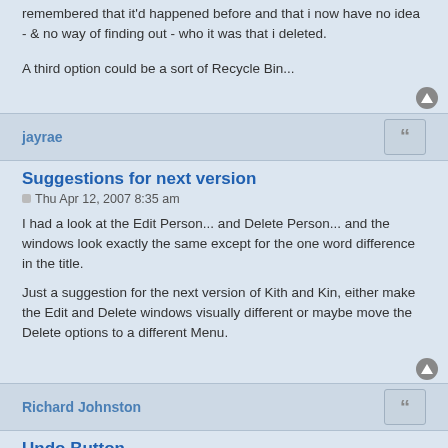remembered that it'd happened before and that i now have no idea - & no way of finding out - who it was that i deleted.
A third option could be a sort of Recycle Bin...
jayrae
Suggestions for next version
Thu Apr 12, 2007 8:35 am
I had a look at the Edit Person... and Delete Person... and the windows look exactly the same except for the one word difference in the title.
Just a suggestion for the next version of Kith and Kin, either make the Edit and Delete windows visually different or maybe move the Delete options to a different Menu.
Richard Johnston
Undo Button...
Fri Aug 01, 2008 2:26 am